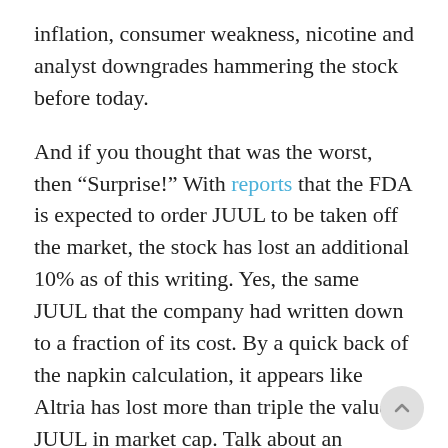inflation, consumer weakness, nicotine and analyst downgrades hammering the stock before today.
And if you thought that was the worst, then “Surprise!” With reports that the FDA is expected to order JUUL to be taken off the market, the stock has lost an additional 10% as of this writing. Yes, the same JUUL that the company had written down to a fraction of its cost. By a quick back of the napkin calculation, it appears like Altria has lost more than triple the value of JUUL in market cap. Talk about an overreaction.
As a result, Altria is down 28% from its 52 week of $57 as it’s trading at about $41 right now. By definition, Altria is super deep into a bear market of its own. As terrifying as that sounds, especially for investors with Altria as a large position like us, it’s